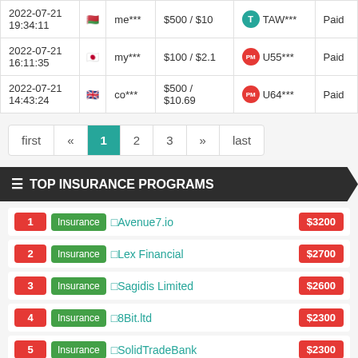| Date | Flag | User | Amount | Payment | Status |
| --- | --- | --- | --- | --- | --- |
| 2022-07-21 19:34:11 | Belarus | me*** | $500 / $10 | TAW*** | Paid |
| 2022-07-21 16:11:35 | Japan | my*** | $100 / $2.1 | U55*** | Paid |
| 2022-07-21 14:43:24 | UK | co*** | $500 / $10.69 | U64*** | Paid |
first « 1 2 3 » last
TOP INSURANCE PROGRAMS
1 Insurance Avenue7.io $3200
2 Insurance Lex Financial $2700
3 Insurance Sagidis Limited $2600
4 Insurance 8Bit.ltd $2300
5 Insurance SolidTradeBank $2300